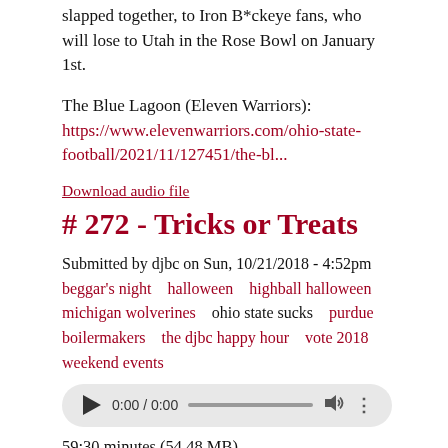slapped together, to Iron B*ckeye fans, who will lose to Utah in the Rose Bowl on January 1st.
The Blue Lagoon (Eleven Warriors): https://www.elevenwarriors.com/ohio-state-football/2021/11/127451/the-bl...
Download audio file
# 272 - Tricks or Treats
Submitted by djbc on Sun, 10/21/2018 - 4:52pm  beggar's night  halloween  highball halloween  michigan wolverines  ohio state sucks  purdue boilermakers  the djbc happy hour  vote 2018  weekend events
[Figure (other): Audio player widget showing 0:00 / 0:00 with play button, progress bar, volume icon, and more options icon]
59:30 minutes (54.48 MB)
Tonight on the show, some ghoulish Halloween music, plus a sneak peek at Highball Halloween, October 26 & 27 in the